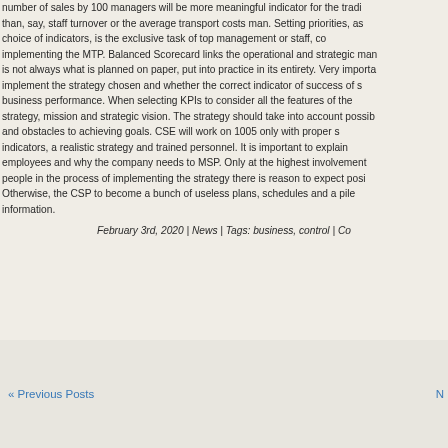number of sales by 100 managers will be more meaningful indicator for the trading than, say, staff turnover or the average transport costs man. Setting priorities, as choice of indicators, is the exclusive task of top management or staff, co implementing the MTP. Balanced Scorecard links the operational and strategic man is not always what is planned on paper, put into practice in its entirety. Very importa implement the strategy chosen and whether the correct indicator of success of s business performance. When selecting KPIs to consider all the features of the strategy, mission and strategic vision. The strategy should take into account possib and obstacles to achieving goals. CSE will work on 1005 only with proper s indicators, a realistic strategy and trained personnel. It is important to explain employees and why the company needs to MSP. Only at the highest involvement people in the process of implementing the strategy there is reason to expect posi Otherwise, the CSP to become a bunch of useless plans, schedules and a pile information.
February 3rd, 2020 | News | Tags: business, control | Co
« Previous Posts    N